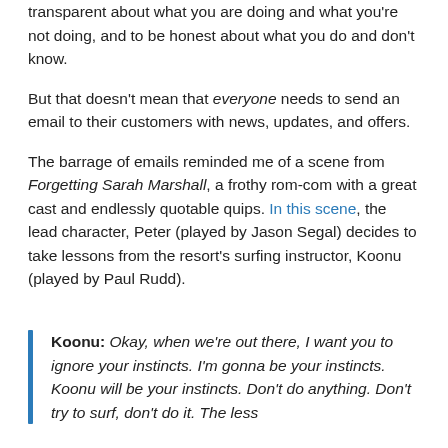transparent about what you are doing and what you're not doing, and to be honest about what you do and don't know.
But that doesn't mean that everyone needs to send an email to their customers with news, updates, and offers.
The barrage of emails reminded me of a scene from Forgetting Sarah Marshall, a frothy rom-com with a great cast and endlessly quotable quips. In this scene, the lead character, Peter (played by Jason Segal) decides to take lessons from the resort's surfing instructor, Koonu (played by Paul Rudd).
Koonu: Okay, when we're out there, I want you to ignore your instincts. I'm gonna be your instincts. Koonu will be your instincts. Don't do anything. Don't try to surf, don't do it. The less